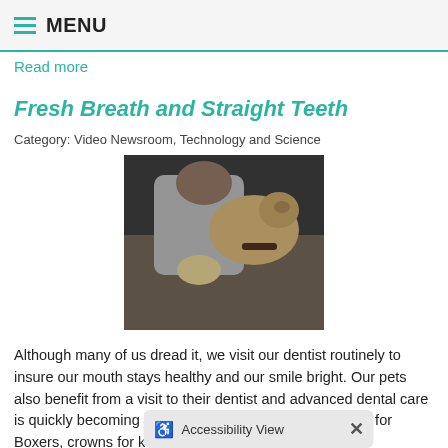MENU
Read more
Fresh Breath and Straight Teeth
Category: Video Newsroom, Technology and Science
[Figure (photo): A person examining or treating a dog's teeth, likely a veterinary dental procedure. The image is somewhat dark/blurry showing a person in a white coat working on a dog.]
Although many of us dread it, we visit our dentist routinely to insure our mouth stays healthy and our smile bright. Our pets also benefit from a visit to their dentist and advanced dental care is quickly becoming more common. That's right...braces for Boxers, crowns for kitties and a root canal for
Read more
Cloning Pets
Category: Video Newsroom, Tec...